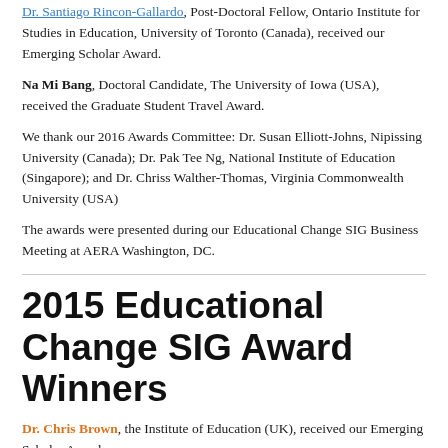Dr. Santiago Rincon-Gallardo, Post-Doctoral Fellow, Ontario Institute for Studies in Education, University of Toronto (Canada), received our Emerging Scholar Award.
Na Mi Bang, Doctoral Candidate, The University of Iowa (USA), received the Graduate Student Travel Award.
We thank our 2016 Awards Committee: Dr. Susan Elliott-Johns, Nipissing University (Canada); Dr. Pak Tee Ng, National Institute of Education (Singapore); and Dr. Chriss Walther-Thomas, Virginia Commonwealth University (USA)
The awards were presented during our Educational Change SIG Business Meeting at AERA Washington, DC.
2015 Educational Change SIG Award Winners
Dr. Chris Brown, the Institute of Education (UK), received our Emerging Scholar Award.